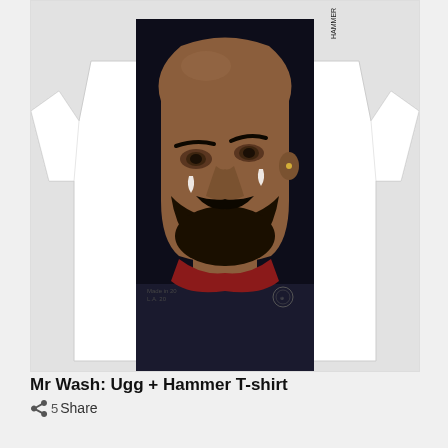[Figure (photo): A white t-shirt laid flat on a light gray background. The t-shirt features a large printed portrait of a bald Black man with a beard, looking upward, with tear drops on his face. The image covers most of the front of the shirt. Small text reads 'Made in L.A.' with a logo badge on the lower right of the print. A small brand tag is visible on the upper right sleeve area.]
Mr Wash: Ugg + Hammer T-shirt
Share 5